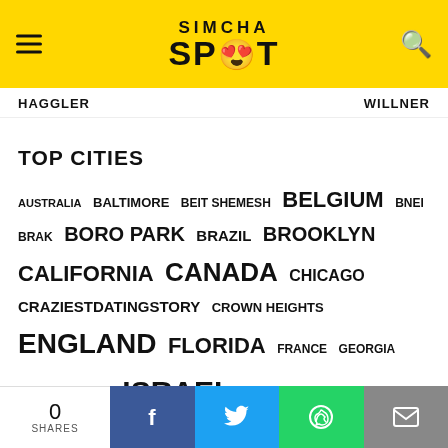SIMCHA SPOT
HAGGLER    WILLNER
TOP CITIES
AUSTRALIA BALTIMORE BEIT SHEMESH BELGIUM BNEI BRAK BORO PARK BRAZIL BROOKLYN CALIFORNIA CANADA CHICAGO CRAZIESTDATINGSTORY CROWN HEIGHTS ENGLAND FLORIDA FRANCE GEORGIA ILLINOIS ISRAEL JERUSALEM LONDON
0 SHARES | Facebook | Twitter | WhatsApp | Email